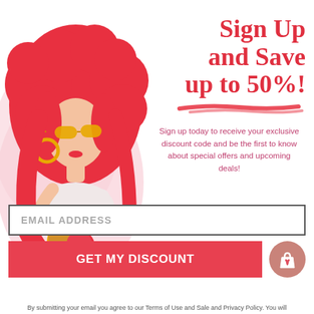[Figure (illustration): Illustrated woman with red curly hair, yellow sunglasses, hoop earrings, holding tropical fruits (pineapple, orange/red fruits), wearing white top, on light pink background blob]
Sign Up and Save up to 50%!
Sign up today to receive your exclusive discount code and be the first to know about special offers and upcoming deals!
EMAIL ADDRESS
GET MY DISCOUNT
By submitting your email you agree to our Terms of Use and Sale and Privacy Policy. You will